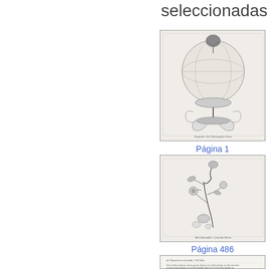seleccionadas
[Figure (illustration): Historical botanical/alchemical illustration showing a tree growing from a globe-like sphere on a pedestal, with shell and serpentine decorations below]
Página 1
[Figure (illustration): Historical botanical illustration of a flowering plant with detailed branches, flowers, and fruit]
Página 486
[Figure (illustration): Partial view of a text page from an old book with small text]